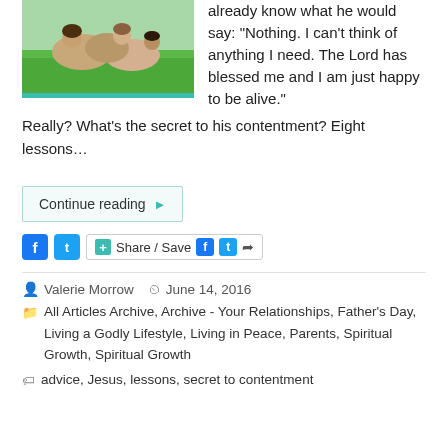[Figure (photo): Children playing on green grass, photo with teal border at bottom]
already know what he would say: “Nothing. I can’t think of anything I need. The Lord has blessed me and I am just happy to be alive.” Really? What’s the secret to his contentment? Eight lessons…
Continue reading ▶
Share / Save
Valerie Morrow   June 14, 2016
All Articles Archive, Archive - Your Relationships, Father’s Day, Living a Godly Lifestyle, Living in Peace, Parents, Spiritual Growth, Spiritual Growth
advice, Jesus, lessons, secret to contentment